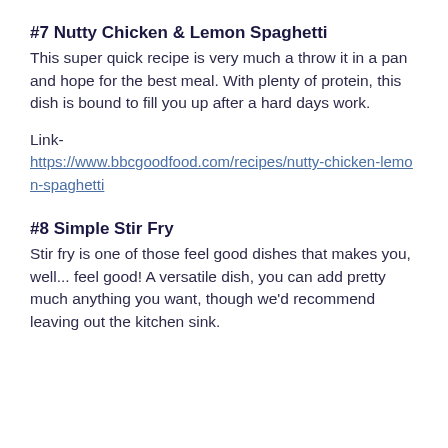#7 Nutty Chicken & Lemon Spaghetti
This super quick recipe is very much a throw it in a pan and hope for the best meal. With plenty of protein, this dish is bound to fill you up after a hard days work.
Link-
https://www.bbcgoodfood.com/recipes/nutty-chicken-lemon-spaghetti
#8 Simple Stir Fry
Stir fry is one of those feel good dishes that makes you, well... feel good! A versatile dish, you can add pretty much anything you want, though we'd recommend leaving out the kitchen sink.